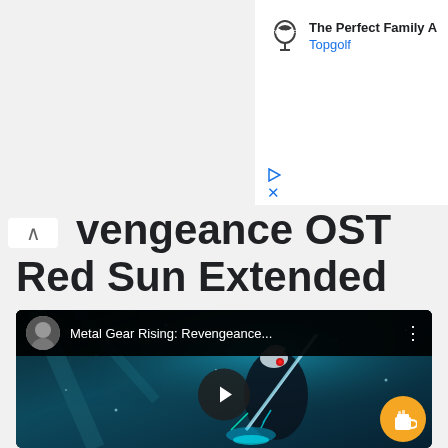[Figure (screenshot): Advertisement banner for Topgolf showing logo and partial title 'The Perfect Family A' with Topgolf branding in blue]
vengeance OST Red Sun Extended
[Figure (screenshot): YouTube video embed showing Metal Gear Rising: Revengeance OST video thumbnail with a silver-haired cybernetic character in dark armor holding a sword, with a play button overlay and a coffee/tip button in the bottom right corner]